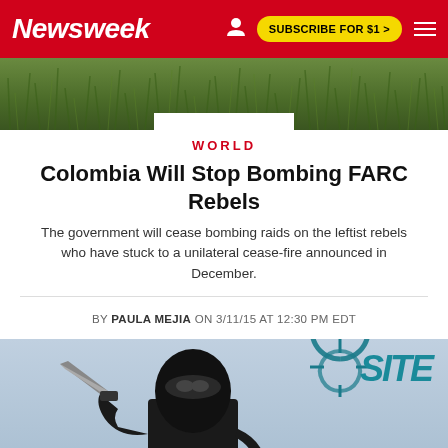Newsweek — SUBSCRIBE FOR $1 >
[Figure (photo): Background photo of tall green grass/vegetation]
WORLD
Colombia Will Stop Bombing FARC Rebels
The government will cease bombing raids on the leftist rebels who have stuck to a unilateral cease-fire announced in December.
BY PAULA MEJIA ON 3/11/15 AT 12:30 PM EDT
[Figure (photo): Person in black balaclava holding a knife, with SITE intelligence group watermark in upper right corner]